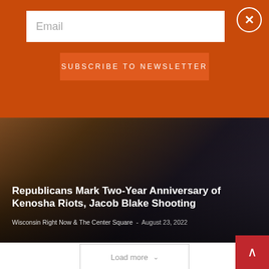[Figure (screenshot): Email subscription overlay with orange background, email input field, Subscribe to Newsletter button, and close X button]
[Figure (photo): Dark photo of a person in a suit, likely at a formal setting, with amber/brown tones]
Republicans Mark Two-Year Anniversary of Kenosha Riots, Jacob Blake Shooting
Wisconsin Right Now & The Center Square  -  August 23, 2022
Load more